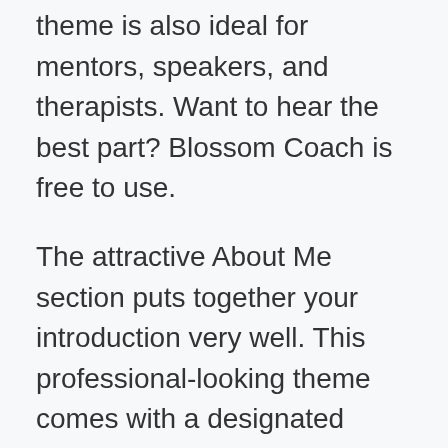theme is also ideal for mentors, speakers, and therapists. Want to hear the best part? Blossom Coach is free to use.
The attractive About Me section puts together your introduction very well. This professional-looking theme comes with a designated service section to display your services/offers. Along with it, there's a Testimonial section to show your client reviews. The blog section makes sure to update your visitors with the latest news.
Blossom Coach also features a noticeable newsletter section on the banner section